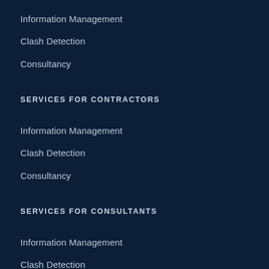Information Management
Clash Detection
Consultancy
SERVICES FOR CONTRACTORS
Information Management
Clash Detection
Consultancy
SERVICES FOR CONSULTANTS
Information Management
Clash Detection